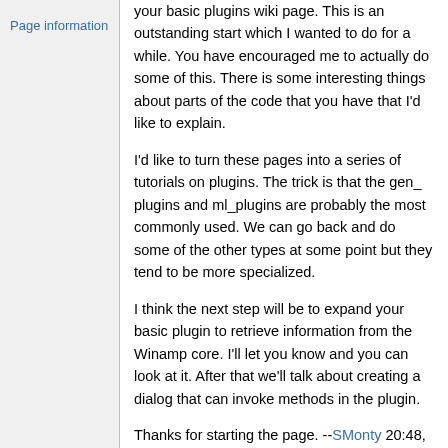Page information
your basic plugins wiki page. This is an outstanding start which I wanted to do for a while. You have encouraged me to actually do some of this. There is some interesting things about parts of the code that you have that I'd like to explain.
I'd like to turn these pages into a series of tutorials on plugins. The trick is that the gen_ plugins and ml_plugins are probably the most commonly used. We can go back and do some of the other types at some point but they tend to be more specialized.
I think the next step will be to expand your basic plugin to retrieve information from the Winamp core. I'll let you know and you can look at it. After that we'll talk about creating a dialog that can invoke methods in the plugin.
Thanks for starting the page. --SMonty 20:48, 1 July 2009 (UTC)
Request For Help